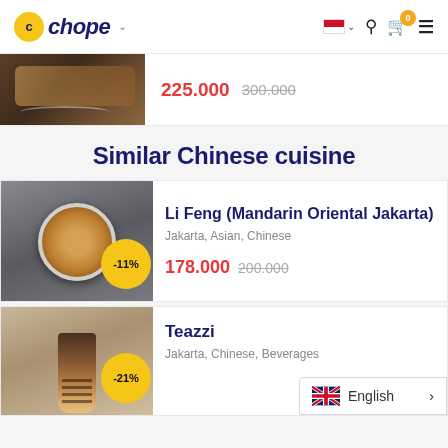Chope - navigation header with logo, country selector, search, cart (0), menu
225.000  300.000 (strikethrough)
Similar Chinese cuisine
Li Feng (Mandarin Oriental Jakarta)
Jakarta, Asian, Chinese
178.000  200.000 (strikethrough) -11%
Teazzi
Jakarta, Chinese, Beverages
-21%